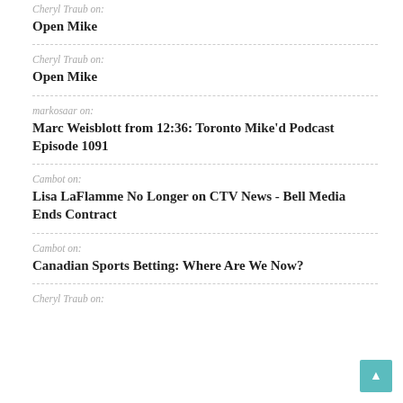Cheryl Traub on: Open Mike
Cheryl Traub on: Open Mike
markosaar on: Marc Weisblott from 12:36: Toronto Mike'd Podcast Episode 1091
Cambot on: Lisa LaFlamme No Longer on CTV News - Bell Media Ends Contract
Cambot on: Canadian Sports Betting: Where Are We Now?
Cheryl Traub on: